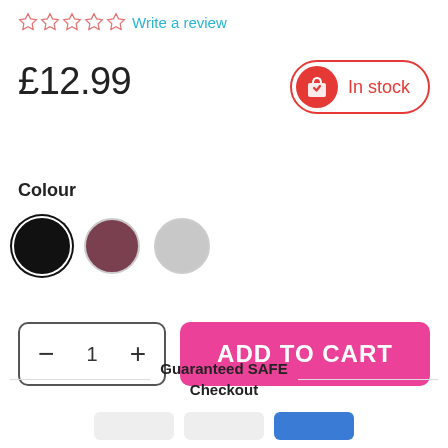☆☆☆☆☆ Write a review
£12.99
In stock
Colour
[Figure (other): Three colour swatches: black (selected), mauve/dark red, silver/grey]
− 1 +
ADD TO CART
Guaranteed SAFE Checkout